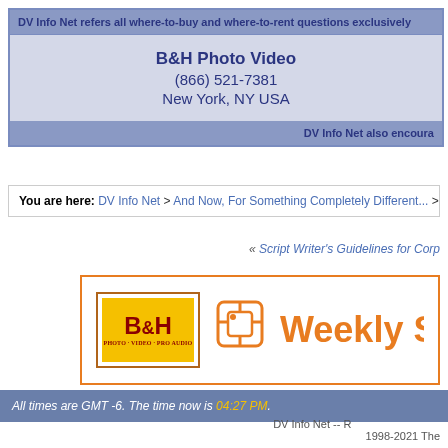DV Info Net refers all where-to-buy and where-to-rent questions exclusively
B&H Photo Video
(866) 521-7381
New York, NY USA
DV Info Net also encoura
You are here: DV Info Net > And Now, For Something Completely Different... >
« Script Writer's Guidelines for Corp
[Figure (logo): B&H Photo Video logo with Weekly Sp text in orange]
All times are GMT -6. The time now is 04:27 PM.
DV Info Net -- R
1998-2021 The